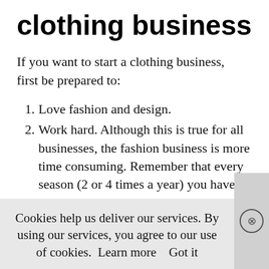clothing business
If you want to start a clothing business, first be prepared to:
Love fashion and design.
Work hard. Although this is true for all businesses, the fashion business is more time consuming. Remember that every season (2 or 4 times a year) you have to
change your products. Selecting your products is a job that never ends.
Cookies help us deliver our services. By using our services, you agree to our use of cookies.  Learn more    Got it
When I started working in fashion